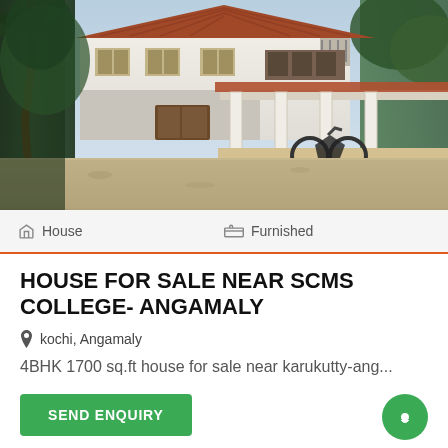[Figure (photo): Exterior photo of a two-storey white house with red/brown tiled roof, covered porch with white columns, motorcycle parked under porch, gravel driveway, surrounded by tropical trees and vegetation.]
House   Furnished
HOUSE FOR SALE NEAR SCMS COLLEGE- ANGAMALY
kochi, Angamaly
4BHK 1700 sq.ft house for sale near karukutty-ang...
SEND ENQUIRY